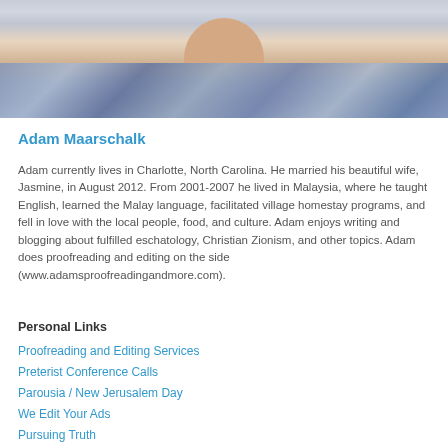[Figure (photo): Photo of Adam Maarschalk, showing neck and shoulders in a plaid blue/white shirt against a light background]
Adam Maarschalk
Adam currently lives in Charlotte, North Carolina. He married his beautiful wife, Jasmine, in August 2012. From 2001-2007 he lived in Malaysia, where he taught English, learned the Malay language, facilitated village homestay programs, and fell in love with the local people, food, and culture. Adam enjoys writing and blogging about fulfilled eschatology, Christian Zionism, and other topics. Adam does proofreading and editing on the side (www.adamsproofreadingandmore.com).
Personal Links
Proofreading and Editing Services
Preterist Conference Calls
Parousia / New Jerusalem Day
We Edit Your Ads
Pursuing Truth